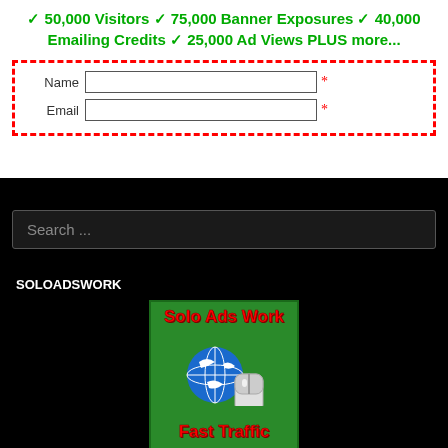✓ 50,000 Visitors ✓ 75,000 Banner Exposures ✓ 40,000 Emailing Credits ✓ 25,000 Ad Views PLUS more...
[Figure (screenshot): A web form with dashed red border containing Name and Email input fields with red asterisks indicating required fields]
[Figure (screenshot): A dark search bar with placeholder text 'Search ...']
SOLOADSWORK
[Figure (illustration): Green square advertisement image with 'Solo Ads Work' text in red at top, globe with computer mouse graphic in the middle, and 'Fast Traffic' text in red at the bottom]